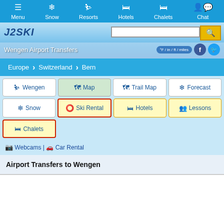Menu | Snow | Resorts | Hotels | Chalets | Chat
[Figure (screenshot): J2Ski website header banner with logo, search box, search button, temperature unit toggle, Facebook and Twitter icons, and title 'Wengen Airport Transfers']
Europe > Switzerland > Bern
Wengen
Map
Trail Map
Forecast
Snow
Ski Rental
Hotels
Lessons
Chalets
Webcams | Car Rental
Airport Transfers to Wengen